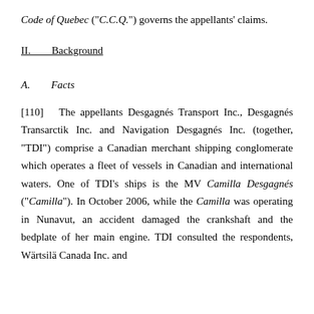Code of Quebec ("C.C.Q.") governs the appellants' claims.
II.	Background
A.	Facts
[110]	The appellants Desgagnés Transport Inc., Desgagnés Transarctik Inc. and Navigation Desgagnés Inc. (together, "TDI") comprise a Canadian merchant shipping conglomerate which operates a fleet of vessels in Canadian and international waters. One of TDI's ships is the MV Camilla Desgagnés ("Camilla"). In October 2006, while the Camilla was operating in Nunavut, an accident damaged the crankshaft and the bedplate of her main engine. TDI consulted the respondents, Wärtsilä Canada Inc. and